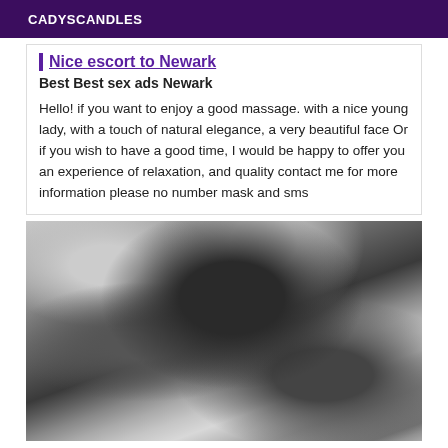CADYSCANDLES
Nice escort to Newark
Best Best sex ads Newark
Hello! if you want to enjoy a good massage. with a nice young lady, with a touch of natural elegance, a very beautiful face Or if you wish to have a good time, I would be happy to offer you an experience of relaxation, and quality contact me for more information please no number mask and sms
[Figure (photo): Black and white photo of a person wearing a black lacy bra with visible tattoos on the upper body/chest area]